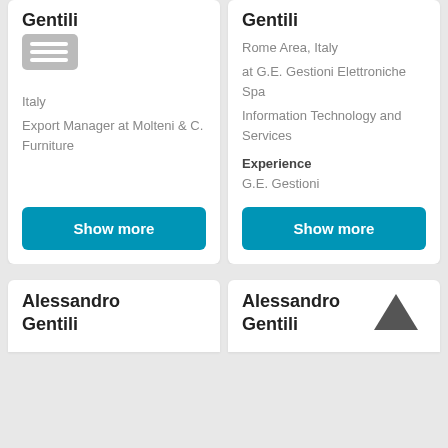Gentili
[Figure (other): Hamburger menu button icon]
Italy
Export Manager at Molteni & C. Furniture
Show more
Gentili
Rome Area, Italy
at G.E. Gestioni Elettroniche Spa
Information Technology and Services
Experience
G.E. Gestioni
Show more
Alessandro Gentili
Alessandro Gentili